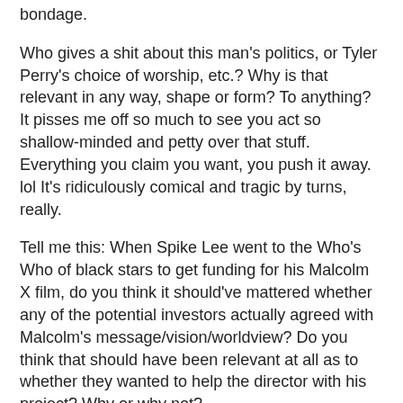bondage.
Who gives a shit about this man's politics, or Tyler Perry's choice of worship, etc.? Why is that relevant in any way, shape or form? To anything? It pisses me off so much to see you act so shallow-minded and petty over that stuff. Everything you claim you want, you push it away. lol It's ridiculously comical and tragic by turns, really.
Tell me this: When Spike Lee went to the Who's Who of black stars to get funding for his Malcolm X film, do you think it should've mattered whether any of the potential investors actually agreed with Malcolm's message/vision/worldview? Do you think that should have been relevant at all as to whether they wanted to help the director with his project? Why or why not?
Jerry Lee Brice - Look into who Cleveland O'neal is as well...
Raymond Gardner - It is definitely crazy -- I can't stand Tyler Perry movies most of the time (but remain willing to at